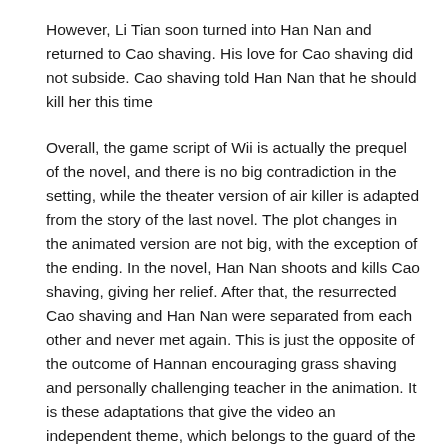However, Li Tian soon turned into Han Nan and returned to Cao shaving. His love for Cao shaving did not subside. Cao shaving told Han Nan that he should kill her this time
Overall, the game script of Wii is actually the prequel of the novel, and there is no big contradiction in the setting, while the theater version of air killer is adapted from the story of the last novel. The plot changes in the animated version are not big, with the exception of the ending. In the novel, Han Nan shoots and kills Cao shaving, giving her relief. After that, the resurrected Cao shaving and Han Nan were separated from each other and never met again. This is just the opposite of the outcome of Hannan encouraging grass shaving and personally challenging teacher in the animation. It is these adaptations that give the video an independent theme, which belongs to the guard of the well.